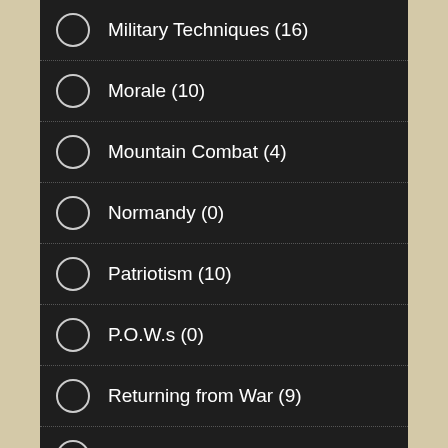Military Techniques (16)
Morale (10)
Mountain Combat (4)
Normandy (0)
Patriotism (10)
P.O.W.s (0)
Returning from War (9)
Rules of War (0)
Strategies (0)
Taking on a New Command (8)